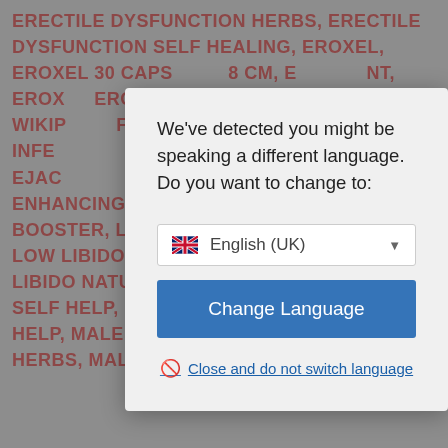ERECTILE DYSFUNCTION HERBS, ERECTILE DYSFUNCTION SELF HEALING, EROXEL, EROXEL 30 CAPS… 8 CM, E… NT, EROX… EROX… INGR… ET, EROX… WIKIP… FERT… Y, IMPR… FERT… INFE… RAL REME… ELF HELP… EJAC… NATU… ELF HELP, LIBIDO ENHANCING HERBS, LIBIDO NATURAL BOOSTER, LIBIDO STIMULATING HERBS, LOW LIBIDO, LOW LIBIDO HERBS, LOW LIBIDO NATURAL REMEDIES, LOW LIBIDO SELF HELP, LOW TESTOSTERONE SELF HELP, MALE FERTILITY, MALE FERTILITY HERBS, MALE
We've detected you might be speaking a different language. Do you want to change to:
English (UK)
Change Language
Close and do not switch language